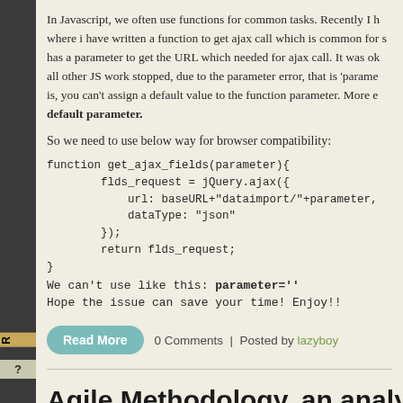In Javascript, we often use functions for common tasks. Recently I h... where i have written a function to get ajax call which is common for s... has a parameter to get the URL which needed for ajax call. It was ok... all other JS work stopped, due to the parameter error, that is 'parame... is, you can't assign a default value to the function parameter. More e... default parameter.
So we need to use below way for browser compatibility:
function get_ajax_fields(parameter){
        flds_request = jQuery.ajax({
            url: baseURL+"dataimport/"+parameter,
            dataType: "json"
        });
        return flds_request;
}
We can't use like this: parameter=''
Hope the issue can save your time! Enjoy!!
Read More   0 Comments | Posted by lazyboy
Agile Methodology, an analysis